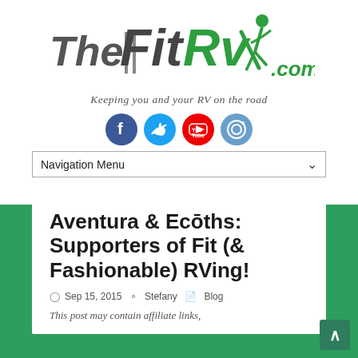[Figure (logo): TheFitRV.com logo with road graphic and running figure in green and dark gray]
Keeping you and your RV on the road
[Figure (infographic): Social media icons: Facebook, Twitter, YouTube, Instagram]
Navigation Menu
Aventura & Ecōths: Supporters of Fit (& Fashionable) RVing!
Sep 15, 2015   Stefany   Blog
This post may contain affiliate links,